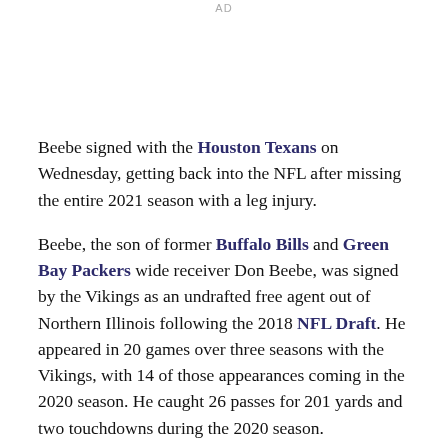AD
Beebe signed with the Houston Texans on Wednesday, getting back into the NFL after missing the entire 2021 season with a leg injury.
Beebe, the son of former Buffalo Bills and Green Bay Packers wide receiver Don Beebe, was signed by the Vikings as an undrafted free agent out of Northern Illinois following the 2018 NFL Draft. He appeared in 20 games over three seasons with the Vikings, with 14 of those appearances coming in the 2020 season. He caught 26 passes for 201 yards and two touchdowns during the 2020 season.